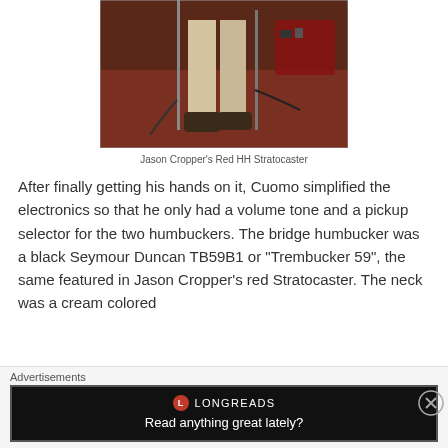[Figure (photo): Photo of a person's legs and feet on a red stage floor, with microphone stands visible, guitar equipment in background.]
Jason Cropper's Red HH Stratocaster
After finally getting his hands on it, Cuomo simplified the electronics so that he only had a volume tone and a pickup selector for the two humbuckers. The bridge humbucker was a black Seymour Duncan TB59B1 or "Trembucker 59", the same featured in Jason Cropper's red Stratocaster. The neck was a cream colored
Advertisements
[Figure (screenshot): Longreads advertisement banner with black background showing logo and text 'Read anything great lately?']